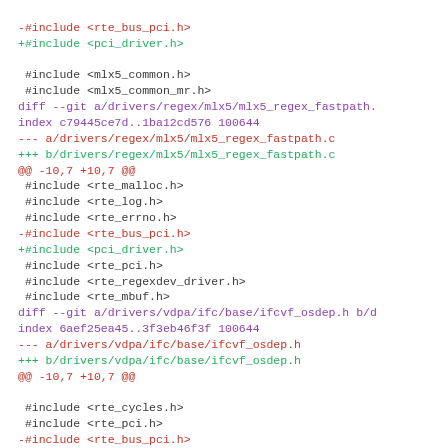diff --git code view showing changes to mlx5 and vdpa drivers replacing rte_bus_pci.h with pci_driver.h
[Figure (screenshot): Git diff output showing source code changes in C driver files, replacing #include <rte_bus_pci.h> with +#include <pci_driver.h> across multiple files including mlx5_regex_fastpath.c and ifcvf_osdep.h]